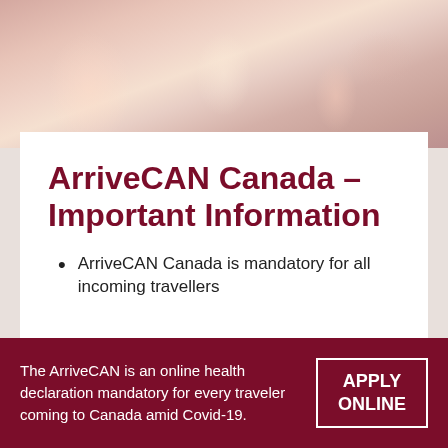[Figure (photo): Background photo of water reflections in warm pink and rose tones]
ArriveCAN Canada – Important Information
ArriveCAN Canada is mandatory for all incoming travellers
The ArriveCAN is an online health declaration mandatory for every traveler coming to Canada amid Covid-19.
APPLY ONLINE